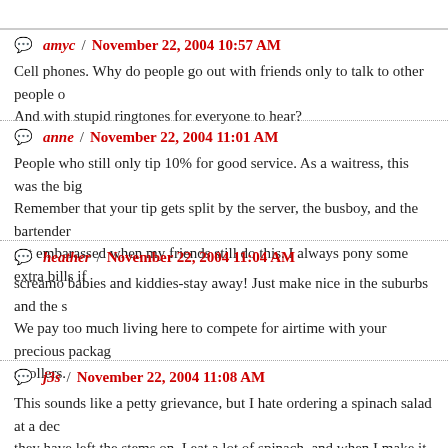amyc / November 22, 2004 10:57 AM
Cell phones. Why do people go out with friends only to talk to other people on their phones? And with stupid ringtones for everyone to hear?
anne / November 22, 2004 11:01 AM
People who still only tip 10% for good service. As a waitress, this was the bigg... Remember that your tip gets split by the server, the busboy, and the bartender ... get embarassed when my friends still do this. I always pony some extra bills if
heather / November 22, 2004 11:04 AM
screamo babies and kiddies-stay away! Just make nice in the suburbs and the s... We pay too much living here to compete for airtime with your precious packag... strollers.
j3s / November 22, 2004 11:08 AM
This sounds like a petty grievance, but I hate ordering a spinach salad at a dec... they have left the stems on. I eat a lot of spinach, and when I make it at home